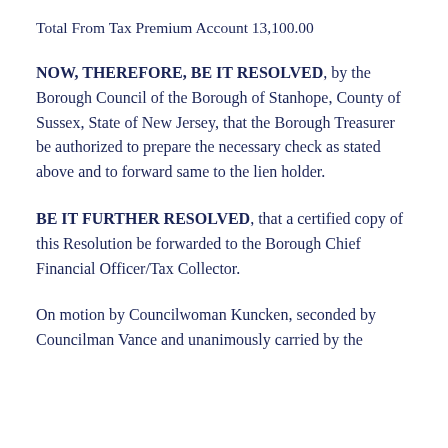Total From Tax Premium Account 13,100.00
NOW, THEREFORE, BE IT RESOLVED, by the Borough Council of the Borough of Stanhope, County of Sussex, State of New Jersey, that the Borough Treasurer be authorized to prepare the necessary check as stated above and to forward same to the lien holder.
BE IT FURTHER RESOLVED, that a certified copy of this Resolution be forwarded to the Borough Chief Financial Officer/Tax Collector.
On motion by Councilwoman Kuncken, seconded by Councilman Vance and unanimously carried by the